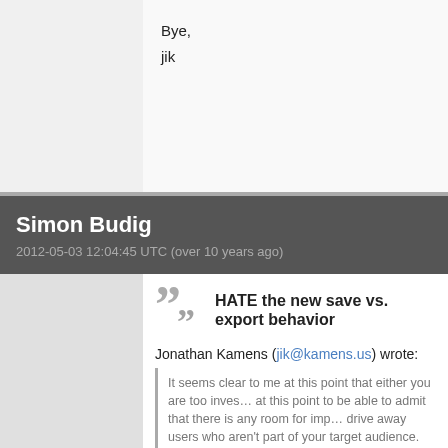Bye,
jik
Simon Budig
2012-05-03 12:04:45 UTC (over 10 years ago)
HATE the new save vs. export behavior
Jonathan Kamens (jik@kamens.us) wrote:
It seems clear to me at this point that either you are too invested at this point to be able to admit that there is any room for improvement, or drive away users who aren't part of your target audience.
Well, some of us have been involved with the Gimp project and assume that there is no more room for improvement. We're know that software development is an incremental effort.
However, there has been significant work been going into easily give up on this after someone came to a judgement minutes about it, apparently unwilling to see the benefits.